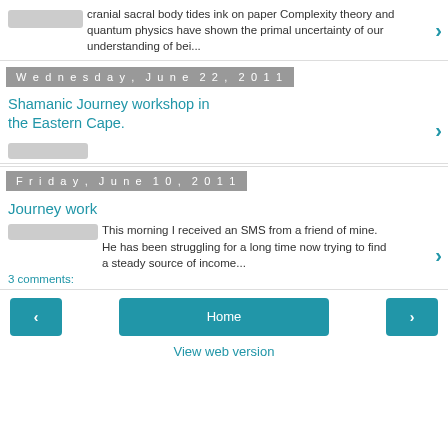cranial sacral body tides ink on paper Complexity theory and quantum physics have shown the primal uncertainty of our understanding of bei...
Wednesday, June 22, 2011
Shamanic Journey workshop in the Eastern Cape.
Friday, June 10, 2011
Journey work
This morning I received an SMS from a friend of mine. He has been struggling for a long time now trying to find a steady source of income...
3 comments:
Home
View web version